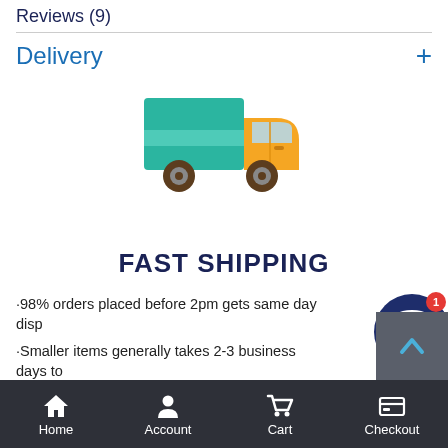Reviews (9)
Delivery +
[Figure (illustration): Delivery truck icon with teal/green cargo box and yellow cab with brown wheels]
FAST SHIPPING
·98% orders placed before 2pm gets same day dispatch
·Smaller items generally takes 2-3 business days to deliver.
·Larger items going through freight generally take 3-5
Home  Account  Cart  Checkout